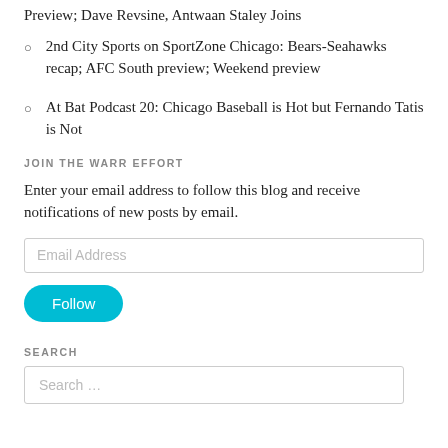Preview; Dave Revsine, Antwaan Staley Joins
2nd City Sports on SportZone Chicago: Bears-Seahawks recap; AFC South preview; Weekend preview
At Bat Podcast 20: Chicago Baseball is Hot but Fernando Tatis is Not
JOIN THE WARR EFFORT
Enter your email address to follow this blog and receive notifications of new posts by email.
Email Address
Follow
SEARCH
Search ...